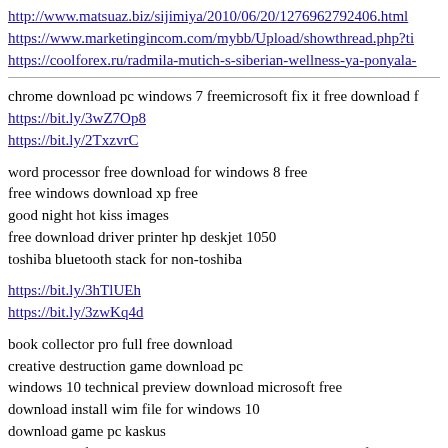http://www.matsuaz.biz/sijimiya/2010/06/20/1276962792406.html
https://www.marketingincom.com/mybb/Upload/showthread.php?ti...
https://coolforex.ru/radmila-mutich-s-siberian-wellness-ya-ponyala-...
chrome download pc windows 7 freemicrosoft fix it free download f...
https://bit.ly/3wZ7Op8
https://bit.ly/2TxzvrC
word processor free download for windows 8 free
free windows download xp free
good night hot kiss images
free download driver printer hp deskjet 1050
toshiba bluetooth stack for non-toshiba
https://bit.ly/3hTlUEh
https://bit.ly/3zwKq4d
book collector pro full free download
creative destruction game download pc
windows 10 technical preview download microsoft free
download install wim file for windows 10
download game pc kaskus
product key for windows server 2008 r2 datacenter edition free dow...
far cry 3 download windows free
vmware fusion 5 trial free download